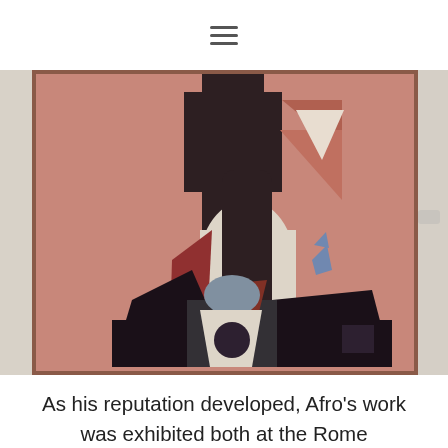☰
[Figure (photo): An abstract painting hanging on a gallery wall. The large canvas features geometric shapes — a cross/tower form in dark brown at top center, triangular and curved forms in off-white, black, dark red/maroon, grey, and a small blue figure to the right. The background is a dusty rose/terracotta pink. The painting is displayed in a gallery with neutral beige walls.]
As his reputation developed, Afro's work was exhibited both at the Rome Quadriennale and